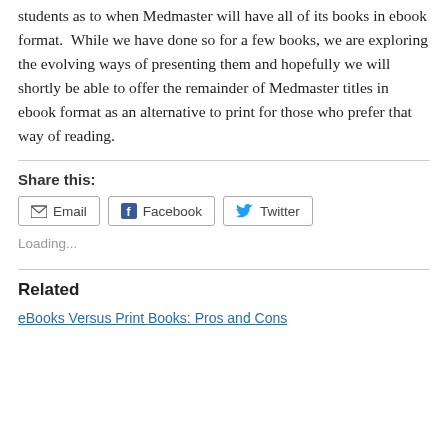students as to when Medmaster will have all of its books in ebook format.  While we have done so for a few books, we are exploring the evolving ways of presenting them and hopefully we will shortly be able to offer the remainder of Medmaster titles in ebook format as an alternative to print for those who prefer that way of reading.
Share this:
Email | Facebook | Twitter
Loading...
Related
eBooks Versus Print Books: Pros and Cons